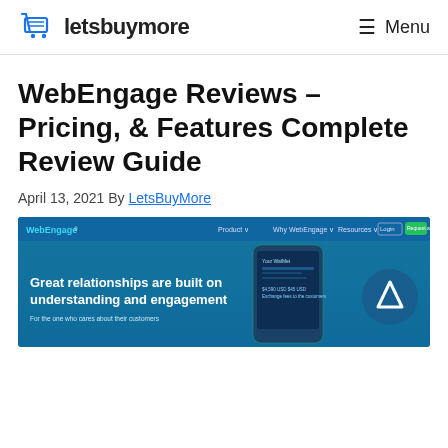letsbuymore — Menu
WebEngage Reviews – Pricing, & Features Complete Review Guide
April 13, 2021 By LetsBuyMore
[Figure (screenshot): Screenshot of WebEngage website homepage showing navigation bar and hero section with text 'Great relationships are built on' and a smartphone mockup on a blue background with a 'Request a Demo' button]